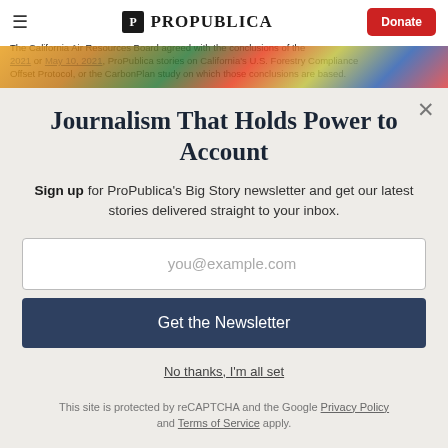ProPublica — Donate
The California Air Resources Board agreed with the conclusions of the 2021 or May 10, 2021, ProPublica stories on California's U.S. Forestry Compliance Offset Protocol, or the CarbonPlan study on which those conclusions are based.
Journalism That Holds Power to Account
Sign up for ProPublica's Big Story newsletter and get our latest stories delivered straight to your inbox.
you@example.com
Get the Newsletter
No thanks, I'm all set
This site is protected by reCAPTCHA and the Google Privacy Policy and Terms of Service apply.